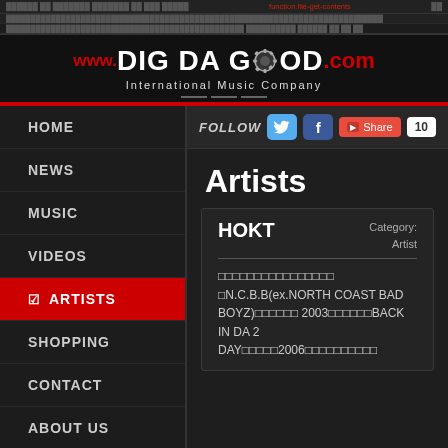function.file-get-contents error bar
[Figure (logo): www.DIGDAGOOD.com International Music Company logo on black background with red and white text and gear icon]
HOME
NEWS
MUSIC
VIDEOS
ARTISTS (active)
SHOPPING
CONTACT
ABOUT US
FOLLOW  Share 10
Artists
HOKT
Category: Artist
□□□□□□□□□□□□□□□□ □N.C.B.B(ex.NORTH COAST BAD BOYZ)□□□□□□ 2003□□□□□□BACK IN DA 2 DAY□□□□□2006□□□□□□□□□□